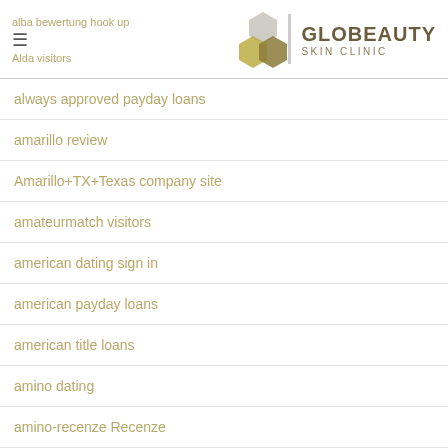alba bewertung hook up | GLOBEAUTY SKIN CLINIC
always approved payday loans
amarillo review
Amarillo+TX+Texas company site
amateurmatch visitors
american dating sign in
american payday loans
american title loans
amino dating
amino-recenze Recenze
amolatina pl review